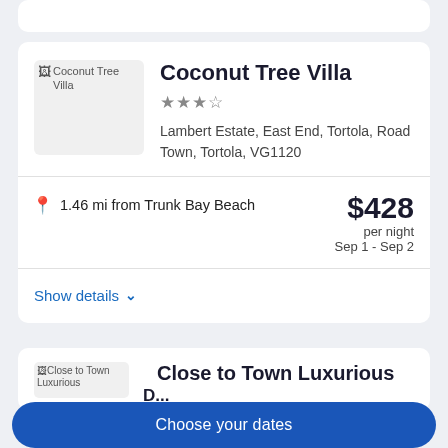[Figure (screenshot): Partial hotel listing card at top, cropped]
Coconut Tree Villa
★★★½
Lambert Estate, East End, Tortola, Road Town, Tortola, VG1120
📍 1.46 mi from Trunk Bay Beach
$428 per night Sep 1 - Sep 2
Show details ∨
Close to Town Luxurious
Choose your dates